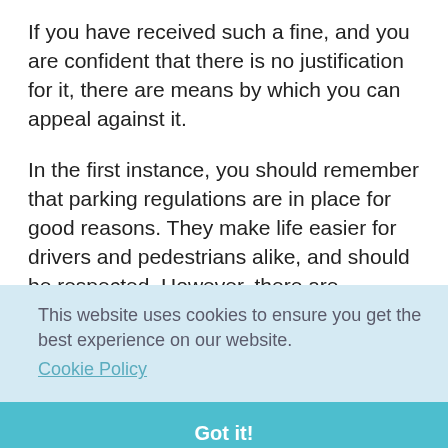If you have received such a fine, and you are confident that there is no justification for it, there are means by which you can appeal against it.
In the first instance, you should remember that parking regulations are in place for good reasons. They make life easier for drivers and pedestrians alike, and should be respected. However, there are occasions on which fines [use] [s in] [al.]
This website uses cookies to ensure you get the best experience on our website.
Cookie Policy
Got it!
[you] [yes] of the law, constitute an admission of liability on